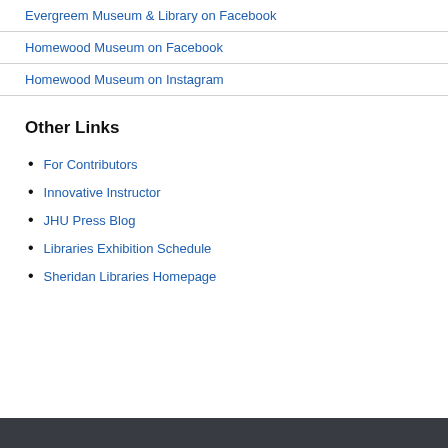Evergreem Museum & Library on Facebook
Homewood Museum on Facebook
Homewood Museum on Instagram
Other Links
For Contributors
Innovative Instructor
JHU Press Blog
Libraries Exhibition Schedule
Sheridan Libraries Homepage